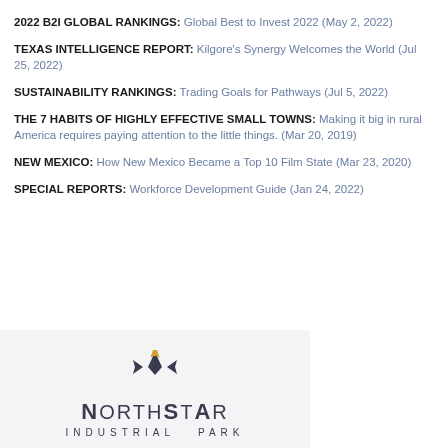2022 B2I GLOBAL RANKINGS: Global Best to Invest 2022 (May 2, 2022)
TEXAS INTELLIGENCE REPORT: Kilgore's Synergy Welcomes the World (Jul 25, 2022)
SUSTAINABILITY RANKINGS: Trading Goals for Pathways (Jul 5, 2022)
THE 7 HABITS OF HIGHLY EFFECTIVE SMALL TOWNS: Making it big in rural America requires paying attention to the little things. (Mar 20, 2019)
NEW MEXICO: How New Mexico Became a Top 10 Film State (Mar 23, 2020)
SPECIAL REPORTS: Workforce Development Guide (Jan 24, 2022)
[Figure (logo): NorthStar Industrial Park logo with a geometric arrow/star icon in dark and gold colors above the text NORTHSTAR INDUSTRIAL PARK]